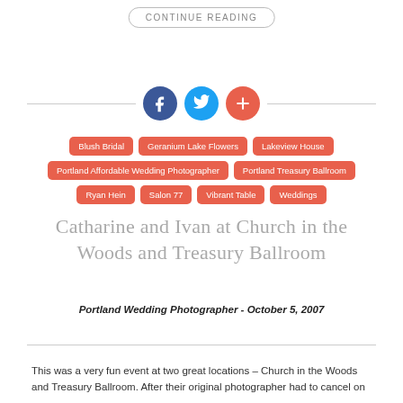CONTINUE READING
[Figure (infographic): Three social media icon circles: Facebook (dark blue), Twitter (light blue), Google Plus (red-orange), arranged horizontally with a horizontal divider line on each side.]
Blush Bridal
Geranium Lake Flowers
Lakeview House
Portland Affordable Wedding Photographer
Portland Treasury Ballroom
Ryan Hein
Salon 77
Vibrant Table
Weddings
Catharine and Ivan at Church in the Woods and Treasury Ballroom
Portland Wedding Photographer - October 5, 2007
This was a very fun event at two great locations – Church in the Woods and Treasury Ballroom. After their original photographer had to cancel on